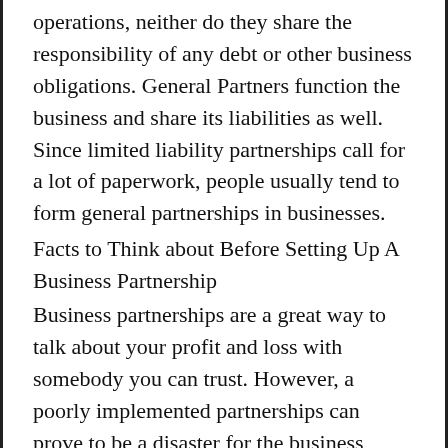operations, neither do they share the responsibility of any debt or other business obligations. General Partners function the business and share its liabilities as well. Since limited liability partnerships call for a lot of paperwork, people usually tend to form general partnerships in businesses.
Facts to Think about Before Setting Up A Business Partnership
Business partnerships are a great way to talk about your profit and loss with somebody you can trust. However, a poorly implemented partnerships can prove to be a disaster for the business enterprise. Here are some useful methods to protect your interests while forming a new business venture:
1. Being Sure Of You Need a Partner
Before entering a business partnership with someone, you need to ask yourself why you need a partner. If you